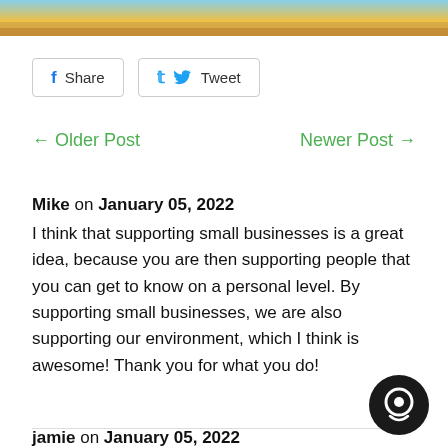[Figure (photo): Top partial image showing a scenic outdoor scene with warm golden light]
f Share   Tweet
← Older Post   Newer Post →
Mike on January 05, 2022
I think that supporting small businesses is a great idea, because you are then supporting people that you can get to know on a personal level. By supporting small businesses, we are also supporting our environment, which I think is awesome! Thank you for what you do!
jamie on January 05, 2022